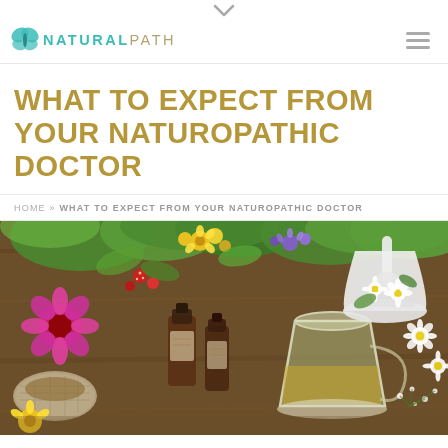NATURALPATH
WHAT TO EXPECT FROM YOUR NATUROPATHIC DOCTOR
HOME » WHAT TO EXPECT FROM YOUR NATUROPATHIC DOCTOR
[Figure (photo): Colorful arrangement of herbs, flowers, essential oil bottles, a glass cup of herbal tea, and a white mortar and pestle with daisies on a wooden surface]